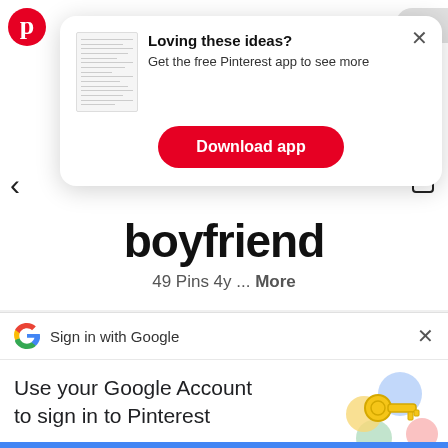[Figure (screenshot): Pinterest logo (red circle with white P)]
up
<
[Figure (screenshot): Pinterest app download modal popup with document thumbnail, bold heading 'Loving these ideas?', subtext 'Get the free Pinterest app to see more', and a red 'Download app' button. X close button in top right.]
boyfriend
49 Pins 4y ... More
[Figure (screenshot): Google Sign-in bar with Google G logo and text 'Sign in with Google' and X close button]
Use your Google Account to sign in to Pinterest
No more passwords to remember. Signing in is fast, simple and secure.
[Figure (illustration): Google key illustration with colorful keys and circles]
[Figure (other): Blue bar at bottom]